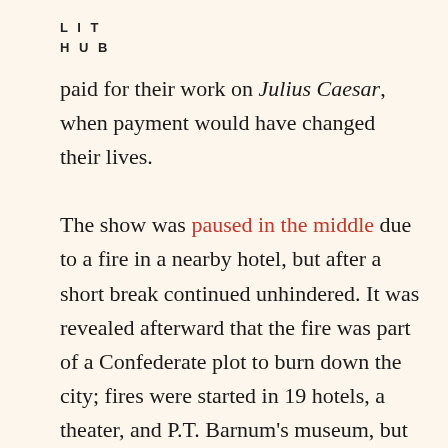LIT
HUB
paid for their work on Julius Caesar, when payment would have changed their lives.

The show was paused in the middle due to a fire in a nearby hotel, but after a short break continued unhindered. It was revealed afterward that the fire was part of a Confederate plot to burn down the city; fires were started in 19 hotels, a theater, and P.T. Barnum’s museum, but mostly fizzled out. When the brothers learned about the arson attempts in the newspaper the next morning, John Wilkes